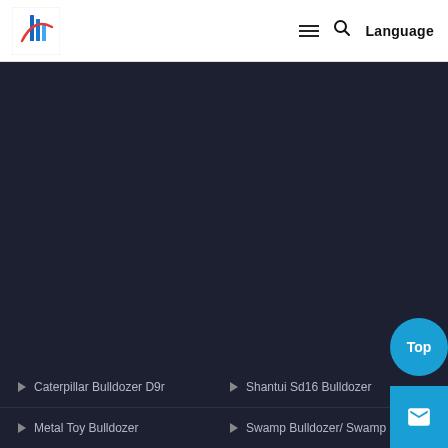[Figure (logo): Company logo with stylized blue and red swoosh/building icon on white background]
≡  🔍  Language
[Figure (photo): Dark navy background area, main content area of the webpage]
▶ Caterpillar Bulldozer D9r
▶ Shantui Sd16 Bulldozer
▶ Metal Toy Bulldozer
▶ Swamp Bulldozer/ Swamp Dozer